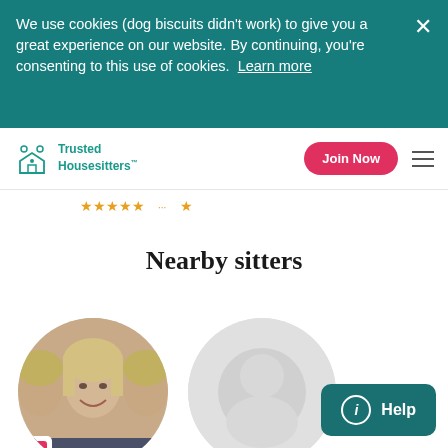We use cookies (dog biscuits didn't work) to give you a great experience on our website. By continuing, you're consenting to this use of cookies. Learn more
[Figure (logo): Trusted Housesitters logo with teal house icon and two people]
Join Now
[Figure (infographic): Star rating row with yellow star icons]
Nearby sitters
[Figure (photo): Circular profile photo of a smiling blonde woman being kissed on both cheeks]
[Figure (illustration): Circular placeholder profile image in grey]
Help